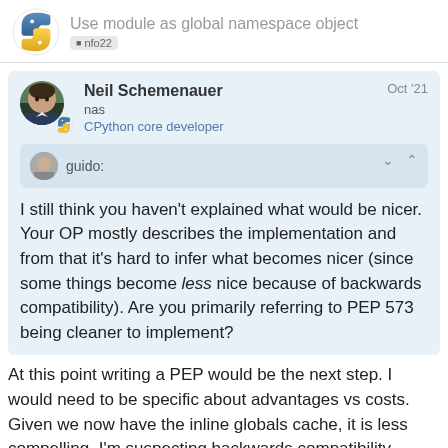Use module as global namespace object
Neil Schemenauer
nas
CPython core developer
Oct '21
guido:
I still think you haven't explained what would be nicer. Your OP mostly describes the implementation and from that it's hard to infer what becomes nicer (since some things become less nice because of backwards compatibility). Are you primarily referring to PEP 573 being cleaner to implement?
At this point writing a PEP would be the next step. I would need to be specific about advantages vs costs. Given we now have the inline globals cache, it is less compelling. I'm suspecting backwards compatibility issues kills the idea. A few things I think would be better: PEP 573, import.c/importl path to faster global variable access (vs pr
11 / 12